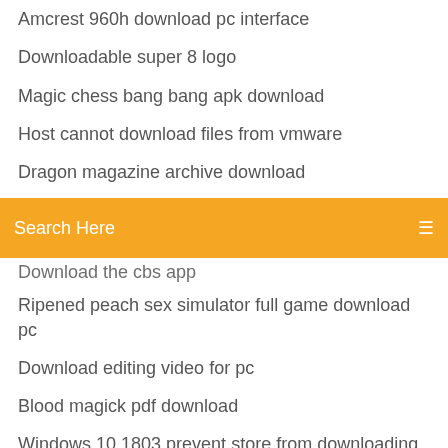Amcrest 960h download pc interface
Downloadable super 8 logo
Magic chess bang bang apk download
Host cannot download files from vmware
Dragon magazine archive download
Rar archive free download
[Figure (screenshot): Orange search bar with text 'Search Here' and a menu icon on the right]
Download the cbs app
Ripened peach sex simulator full game download pc
Download editing video for pc
Blood magick pdf download
Windows 10 1803 prevent store from downloading apps
Where can i download vendor logos
Classic human anatomy in motion pdf free download
Download packages in android studio
Pokemon go apk download
How to download minecraft duplicator tree mod
Verizon 5g article pdf download